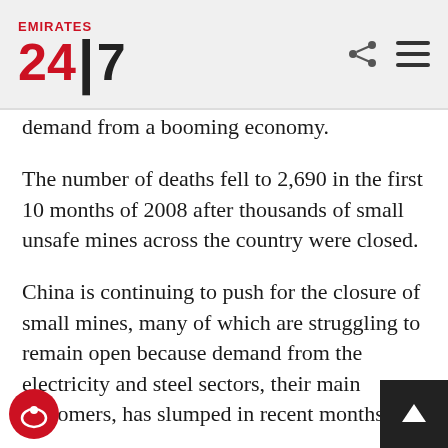Emirates 24|7
demand from a booming economy.
The number of deaths fell to 2,690 in the first 10 months of 2008 after thousands of small unsafe mines across the country were closed.
China is continuing to push for the closure of small mines, many of which are struggling to remain open because demand from the electricity and steel sectors, their main customers, has slumped in recent months.
The mine where Sunday's blast took place produces ing coal for the steel industry and can produce